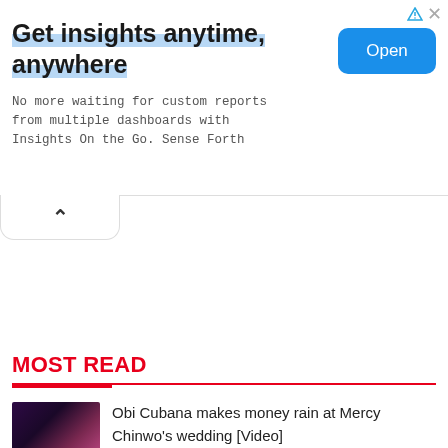[Figure (other): Advertisement banner for 'Insights On the Go' by Sense Forth. Contains headline text, subtitle, and an Open button.]
Get insights anytime, anywhere
No more waiting for custom reports from multiple dashboards with Insights On the Go. Sense Forth
MOST READ
Obi Cubana makes money rain at Mercy Chinwo's wedding [Video]